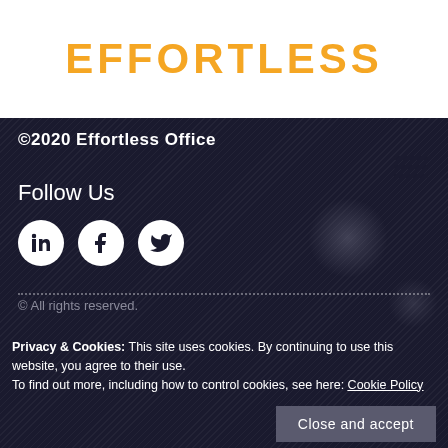EFFORTLESS
[Figure (logo): Effortless logo in orange/gold uppercase letters on white background]
©2020 Effortless Office
Follow Us
[Figure (infographic): Social media icons: LinkedIn, Facebook, Twitter in white circles on dark background]
© All rights reserved.
Privacy & Cookies: This site uses cookies. By continuing to use this website, you agree to their use.
To find out more, including how to control cookies, see here: Cookie Policy
Close and accept